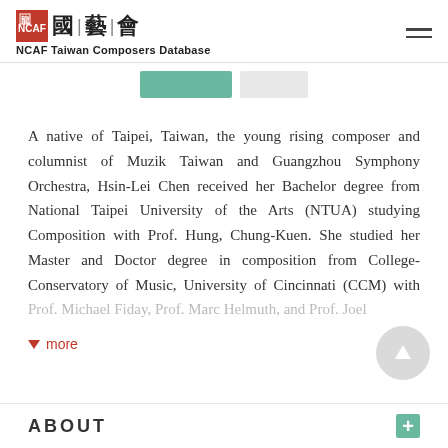NCAF Taiwan Composers Database
A native of Taipei, Taiwan, the young rising composer and columnist of Muzik Taiwan and Guangzhou Symphony Orchestra, Hsin-Lei Chen received her Bachelor degree from National Taipei University of the Arts (NTUA) studying Composition with Prof. Hung, Chung-Kuen. She studied her Master and Doctor degree in composition from College-Conservatory of Music, University of Cincinnati (CCM) with Prof. Michael Fiday, Prof. Marc Helmuth, and Prof. Joel...
more
ABOUT